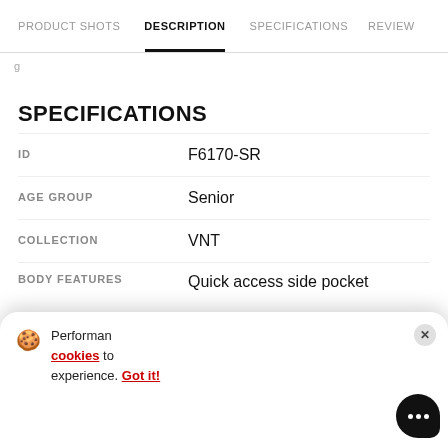PRODUCT SHOTS | DESCRIPTION | SPECIFICATIONS | REVIEW
SPECIFICATIONS
| Field | Value |
| --- | --- |
| ID | F6170-SR |
| AGE GROUP | Senior |
| COLLECTION | VNT |
| BODY FEATURES | Quick access side pocket |
Performance cookies to experience. Got it!